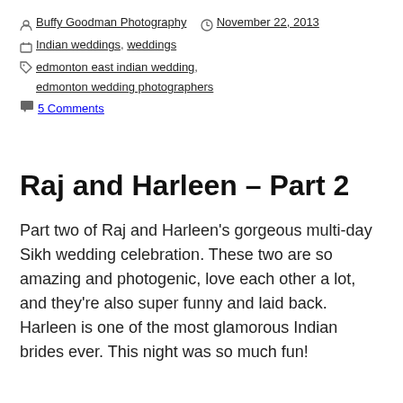By Buffy Goodman Photography   November 22, 2013
Indian weddings, weddings
edmonton east indian wedding, edmonton wedding photographers
5 Comments
Raj and Harleen – Part 2
Part two of Raj and Harleen's gorgeous multi-day Sikh wedding celebration. These two are so amazing and photogenic, love each other a lot, and they're also super funny and laid back. Harleen is one of the most glamorous Indian brides ever. This night was so much fun!